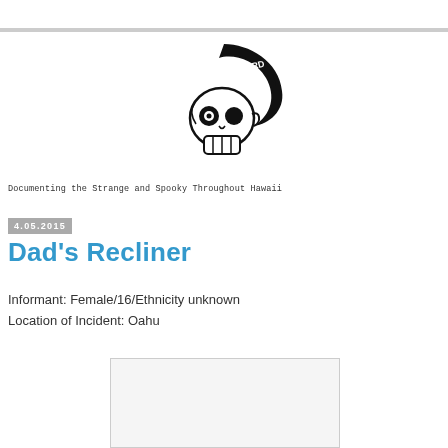[Figure (logo): Weird Hawaii logo: a skull with a mohawk styled as a wave, with text 'WEIRD HAWAII' inside the wave shape, black and white illustration]
Documenting the Strange and Spooky Throughout Hawaii
4.05.2015
Dad's Recliner
Informant: Female/16/Ethnicity unknown
Location of Incident: Oahu
[Figure (photo): A partially visible image below the informant information, appears mostly white/blank in this crop]